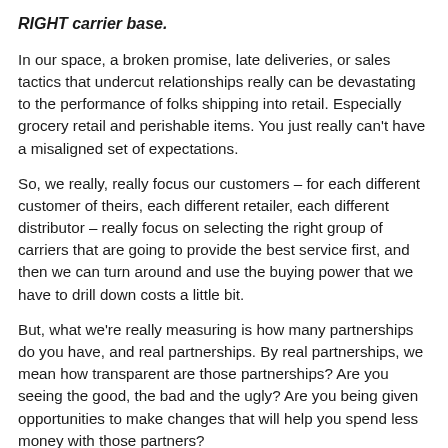RIGHT carrier base.
In our space, a broken promise, late deliveries, or sales tactics that undercut relationships really can be devastating to the performance of folks shipping into retail. Especially grocery retail and perishable items. You just really can't have a misaligned set of expectations.
So, we really, really focus our customers – for each different customer of theirs, each different retailer, each different distributor – really focus on selecting the right group of carriers that are going to provide the best service first, and then we can turn around and use the buying power that we have to drill down costs a little bit.
But, what we're really measuring is how many partnerships do you have, and real partnerships. By real partnerships, we mean how transparent are those partnerships? Are you seeing the good, the bad and the ugly? Are you being given opportunities to make changes that will help you spend less money with those partners?